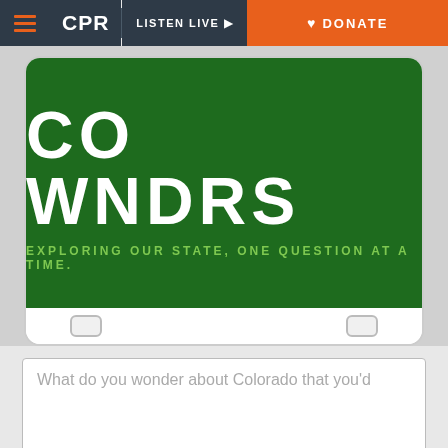CPR | LISTEN LIVE | DONATE
[Figure (photo): Colorado license plate showing 'CO WNDRS' text and tagline 'EXPLORING OUR STATE, ONE QUESTION AT A TIME.' on green background]
What do you wonder about Colorado that you'd
Your contact info
A reporter will contact you if we look into your question.
Name
Email address